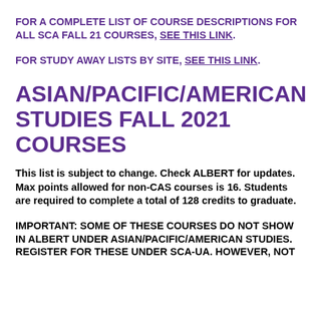FOR A COMPLETE LIST OF COURSE DESCRIPTIONS FOR ALL SCA FALL 21 COURSES, SEE THIS LINK.
FOR STUDY AWAY LISTS BY SITE, SEE THIS LINK.
ASIAN/PACIFIC/AMERICAN STUDIES FALL 2021 COURSES
This list is subject to change. Check ALBERT for updates. Max points allowed for non-CAS courses is 16. Students are required to complete a total of 128 credits to graduate.
IMPORTANT: SOME OF THESE COURSES DO NOT SHOW IN ALBERT UNDER ASIAN/PACIFIC/AMERICAN STUDIES. REGISTER FOR THESE UNDER SCA-UA. HOWEVER, NOT